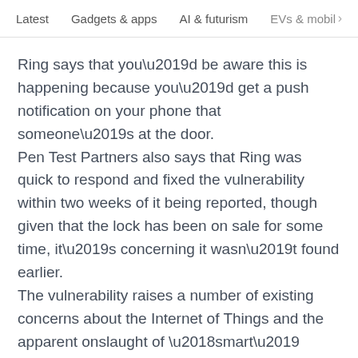Latest   Gadgets & apps   AI & futurism   EVs & mobil  >
Ring says that you’d be aware this is happening because you’d get a push notification on your phone that someone’s at the door.
Pen Test Partners also says that Ring was quick to respond and fixed the vulnerability within two weeks of it being reported, though given that the lock has been on sale for some time, it’s concerning it wasn’t found earlier.
The vulnerability raises a number of existing concerns about the Internet of Things and the apparent onslaught of ‘smart’ devices coming into our homes.